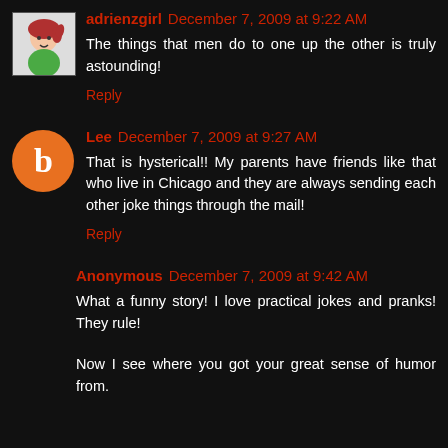adrienzgirl December 7, 2009 at 9:22 AM
The things that men do to one up the other is truly astounding!
Reply
Lee December 7, 2009 at 9:27 AM
That is hysterical!! My parents have friends like that who live in Chicago and they are always sending each other joke things through the mail!
Reply
Anonymous December 7, 2009 at 9:42 AM
What a funny story! I love practical jokes and pranks! They rule!
Now I see where you got your great sense of humor from.